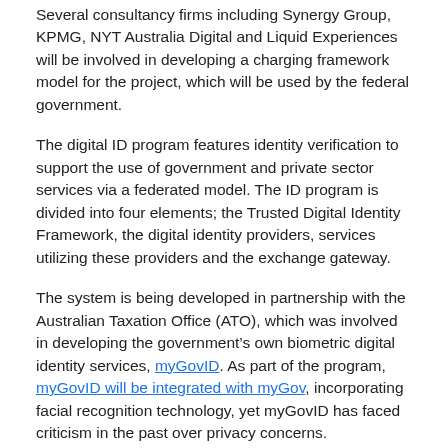Several consultancy firms including Synergy Group, KPMG, NYT Australia Digital and Liquid Experiences will be involved in developing a charging framework model for the project, which will be used by the federal government.
The digital ID program features identity verification to support the use of government and private sector services via a federated model. The ID program is divided into four elements; the Trusted Digital Identity Framework, the digital identity providers, services utilizing these providers and the exchange gateway.
The system is being developed in partnership with the Australian Taxation Office (ATO), which was involved in developing the government's own biometric digital identity services, myGovID. As part of the program, myGovID will be integrated with myGov, incorporating facial recognition technology, yet myGovID has faced criticism in the past over privacy concerns.
The program has been allocated around US$342 million since it began, and received a further US$190 million in October 2020, in preparation for expansion across the country.
“The charging framework will support the ongoing requirements